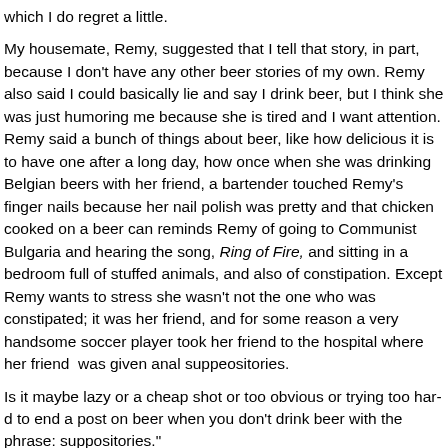which I do regret a little.
My housemate, Remy, suggested that I tell that story, in part, because I don't have any other beer stories of my own. Remy also said I could basically lie and say I drink beer, but I think she was just humoring me because she is tired and I want attention. Remy said a bunch of nice things about beer, like how delicious it is to have one after a long day, how once when she was drinking Belgian beers with her friend, a bartender touched Remy's finger nails because her nail polish was pretty and that chicken cooked on a beer can reminds Remy of going to Communist Bulgaria and hearing the song, Ring of Fire, and sitting in a bedroom full of stuffed animals, and also of constipation. Except Remy wants to stress she wasn't not the one who was constipated; it was her friend, and for some reason a very handsome soccer player took her friend to the hospital where her friend was given anal suppositories.
Is it maybe lazy or a cheap shot or too obvious or trying too hard to end a post on beer when you don't drink beer with the phrase suppositories."
I am so very confident that MTB is going to have a much better beer! Very confident, in fact.
Posted by proteanme | Filed in Memories, MTB |
No Comments